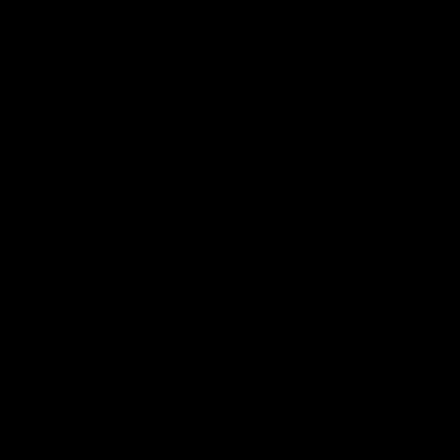[Figure (other): A fractal or cellular automaton pattern rendered as a grid of small red and yellow cross/diamond shaped dots on a black background, forming an irregular organic shape, labeled Stage #13]
Stage #13
[Figure (other): A smaller version of the same fractal/cellular automaton dot pattern on a black background, showing an earlier or smaller stage with red and yellow dots]